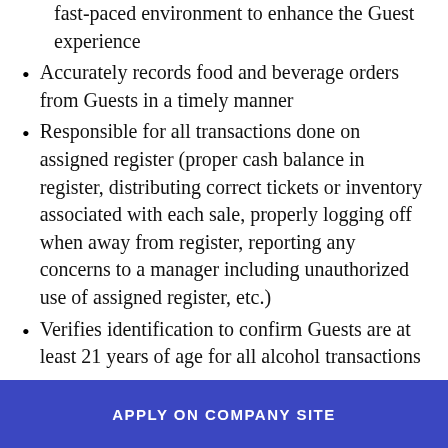fast-paced environment to enhance the Guest experience
Accurately records food and beverage orders from Guests in a timely manner
Responsible for all transactions done on assigned register (proper cash balance in register, distributing correct tickets or inventory associated with each sale, properly logging off when away from register, reporting any concerns to a manager including unauthorized use of assigned register, etc.)
Verifies identification to confirm Guests are at least 21 years of age for all alcohol transactions
Ensures that alcohol is consumed in designated areas only